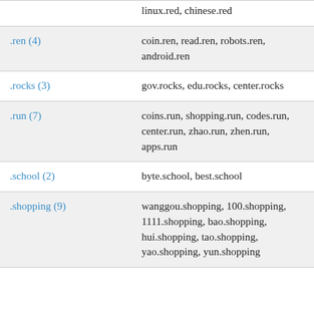| TLD | Examples |
| --- | --- |
| (continued) | linux.red, chinese.red |
| .ren (4) | coin.ren, read.ren, robots.ren, android.ren |
| .rocks (3) | gov.rocks, edu.rocks, center.rocks |
| .run (7) | coins.run, shopping.run, codes.run, center.run, zhao.run, zhen.run, apps.run |
| .school (2) | byte.school, best.school |
| .shopping (9) | wanggou.shopping, 100.shopping, 1111.shopping, bao.shopping, hui.shopping, tao.shopping, yao.shopping, yun.shopping |